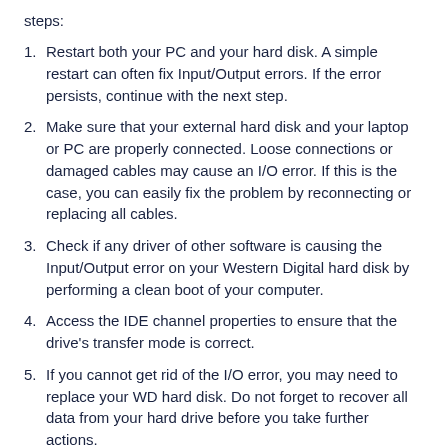steps:
Restart both your PC and your hard disk. A simple restart can often fix Input/Output errors. If the error persists, continue with the next step.
Make sure that your external hard disk and your laptop or PC are properly connected. Loose connections or damaged cables may cause an I/O error. If this is the case, you can easily fix the problem by reconnecting or replacing all cables.
Check if any driver of other software is causing the Input/Output error on your Western Digital hard disk by performing a clean boot of your computer.
Access the IDE channel properties to ensure that the drive's transfer mode is correct.
If you cannot get rid of the I/O error, you may need to replace your WD hard disk. Do not forget to recover all data from your hard drive before you take further actions.